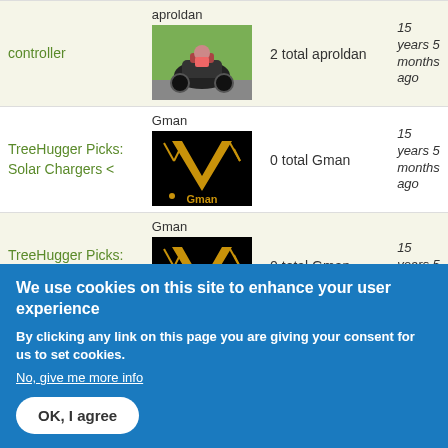| Topic | Image/User | Total | Time |
| --- | --- | --- | --- |
| controller | aproldan | 2 total aproldan | 15 years 5 months ago |
| TreeHugger Picks: Solar Chargers < | Gman | 0 total Gman | 15 years 5 months ago |
| TreeHugger Picks: Commuter Scooters | Gman | 0 total Gman | 15 years 5 months ago |
We use cookies on this site to enhance your user experience
By clicking any link on this page you are giving your consent for us to set cookies.
No, give me more info
OK, I agree